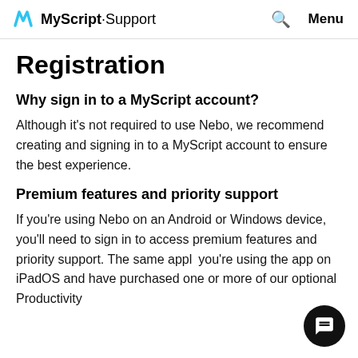MyScript Support  🔍  Menu
Registration
Why sign in to a MyScript account?
Although it's not required to use Nebo, we recommend creating and signing in to a MyScript account to ensure the best experience.
Premium features and priority support
If you're using Nebo on an Android or Windows device, you'll need to sign in to access premium features and priority support. The same appl… you're using the app on iPadOS and have purchased one or more of our optional Productivity